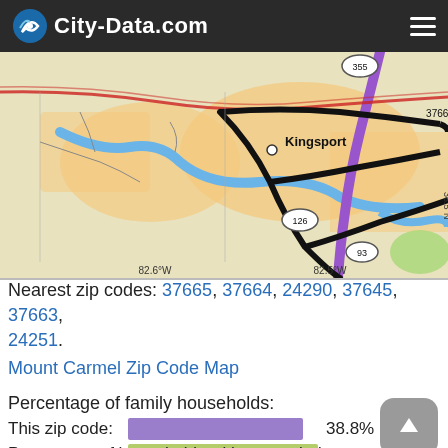City-Data.com
[Figure (map): Street/road map centered on Kingsport area, Tennessee, showing roads including routes 126, 93, 355, 37660. Purple route highlighted. Coordinate labels: 82.6°W, 82.5°W, 36.5°N. Map shows rivers (blue), urban area (orange/tan), and surrounding region.]
Nearest zip codes: 37665, 37664, 24290, 37645, 37663, 24251.
Mount Carmel Zip Code Map
Percentage of family households:
This zip code: 38.8%
Tennessee: 47.0%
Percentage of households with unmarried partners: